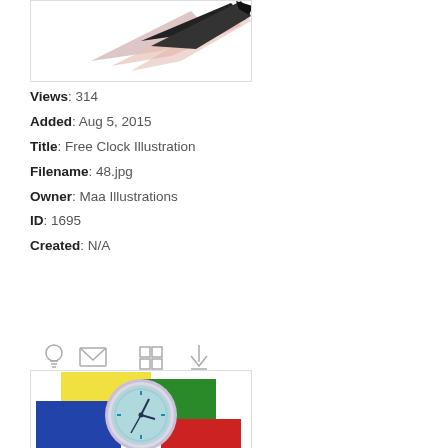[Figure (illustration): Partial view of a bird/feather illustration with black and pink/salmon wings on white background]
Views: 314
Added: Aug 5, 2015
Title: Free Clock Illustration
Filename: 48.jpg
Owner: Maa Illustrations
ID: 1695
Created: N/A
[Figure (illustration): Icon row with lightbulb, envelope, grid, and download arrow icons in gray outline style]
[Figure (illustration): Free Clock Illustration showing an analog clock with teal face and purple/gray frame overlaid on colorful rectangles (yellow, green, blue, red)]